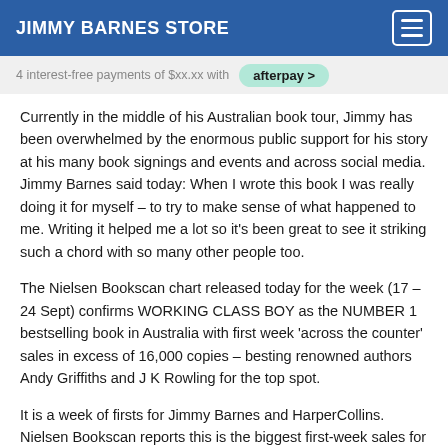JIMMY BARNES STORE
4 interest-free payments of $xx.xx with afterpay
Currently in the middle of his Australian book tour, Jimmy has been overwhelmed by the enormous public support for his story at his many book signings and events and across social media. Jimmy Barnes said today: When I wrote this book I was really doing it for myself – to try to make sense of what happened to me. Writing it helped me a lot so it's been great to see it striking such a chord with so many other people too.
The Nielsen Bookscan chart released today for the week (17 – 24 Sept) confirms WORKING CLASS BOY as the NUMBER 1 bestselling book in Australia with first week 'across the counter' sales in excess of 16,000 copies – besting renowned authors Andy Griffiths and J K Rowling for the top spot.
It is a week of firsts for Jimmy Barnes and HarperCollins. Nielsen Bookscan reports this is the biggest first-week sales for an Australian autobiography in more than five years.
James Kellow, CEO of HarperCollins commented: This is the most impressive debut week of any Australian author in the history of